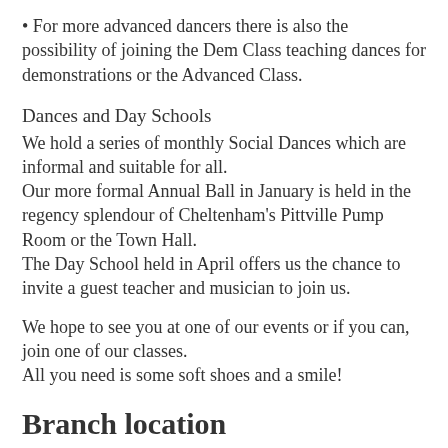• For more advanced dancers there is also the possibility of joining the Dem Class teaching dances for demonstrations or the Advanced Class.
Dances and Day Schools
We hold a series of monthly Social Dances which are informal and suitable for all.
Our more formal Annual Ball in January is held in the regency splendour of Cheltenham's Pittville Pump Room or the Town Hall.
The Day School held in April offers us the chance to invite a guest teacher and musician to join us.
We hope to see you at one of our events or if you can, join one of our classes.
All you need is some soft shoes and a smile!
Branch location